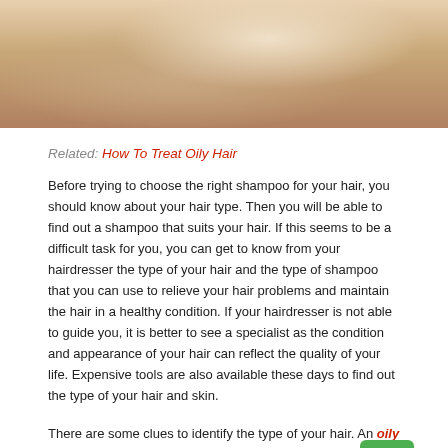[Figure (photo): Partial photo of a person with blond hair wearing a plaid shirt, cropped to show upper body and arms]
Related: How To Treat Oily Hair
Before trying to choose the right shampoo for your hair, you should know about your hair type. Then you will be able to find out a shampoo that suits your hair. If this seems to be a difficult task for you, you can get to know from your hairdresser the type of your hair and the type of shampoo that you can use to relieve your hair problems and maintain the hair in a healthy condition. If your hairdresser is not able to guide you, it is better to see a specialist as the condition and appearance of your hair can reflect the quality of your life. Expensive tools are also available these days to find out the type of your hair and skin.
There are some clues to identify the type of your hair. An oily hair looks dull and greasy. It can quickly become oily. It can attract dirt easily. You may have to wash your hair